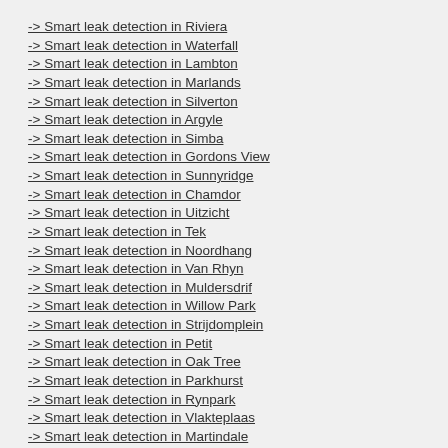-> Smart leak detection in Riviera
-> Smart leak detection in Waterfall
-> Smart leak detection in Lambton
-> Smart leak detection in Marlands
-> Smart leak detection in Silverton
-> Smart leak detection in Argyle
-> Smart leak detection in Simba
-> Smart leak detection in Gordons View
-> Smart leak detection in Sunnyridge
-> Smart leak detection in Chamdor
-> Smart leak detection in Uitzicht
-> Smart leak detection in Tek
-> Smart leak detection in Noordhang
-> Smart leak detection in Van Rhyn
-> Smart leak detection in Muldersdrif
-> Smart leak detection in Willow Park
-> Smart leak detection in Strijdomplein
-> Smart leak detection in Petit
-> Smart leak detection in Oak Tree
-> Smart leak detection in Parkhurst
-> Smart leak detection in Rynpark
-> Smart leak detection in Vlakteplaas
-> Smart leak detection in Martindale
-> Smart leak detection in Lindley